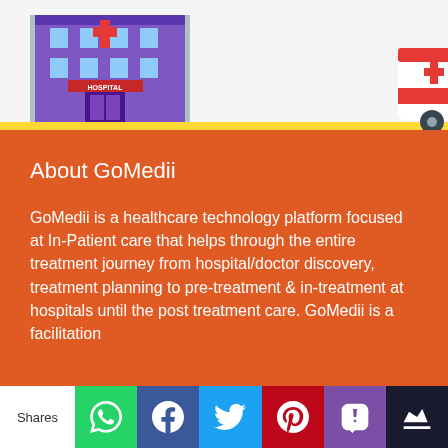[Figure (illustration): Cartoon illustration of a hospital building with an ambulance in front, colorful building facade with HOSPITAL sign]
About GoMedii
GoMedii is a healthcare technology platform focused at In-Patient care that helps through the entire treatment journey from hospital/doctor discovery, treatment planning to pre-treatment & in-treatment at hospitals until the post treatment care. GoMedii is a facilitation
Shares | WhatsApp | Facebook | Twitter | Pinterest | SMS | Crown